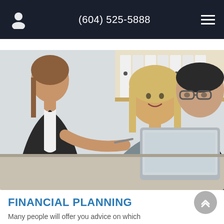(604) 525-5888
[Figure (photo): Three people in a business meeting: a woman with her back to the viewer presenting with a pen, a blonde woman smiling, and a man with glasses listening thoughtfully, with a laptop on the table and filing cabinets in the background.]
FINANCIAL PLANNING
Many people will offer you advice on which